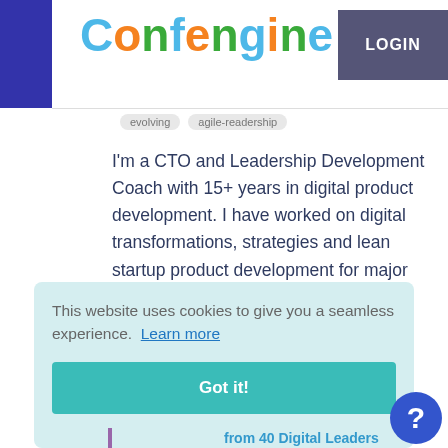Confengine — LOGIN
evolving   agile-readership
I'm a CTO and Leadership Development Coach with 15+ years in digital product development. I have worked on digital transformations, strategies and lean startup product development for major clients such as BCG DV, Qantas, Suncorp, Telstra and VW, in Europe, China, USA and Australia.
This website uses cookies to give you a seamless experience.  Learn more
Got it!
from 40 Digital Leaders